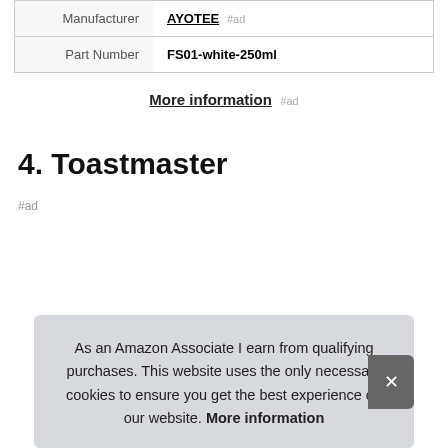| Manufacturer | AYOTEE #ad |
| Part Number | FS01-white-250ml |
More information #ad
4. Toastmaster
#ad
As an Amazon Associate I earn from qualifying purchases. This website uses the only necessary cookies to ensure you get the best experience on our website. More information